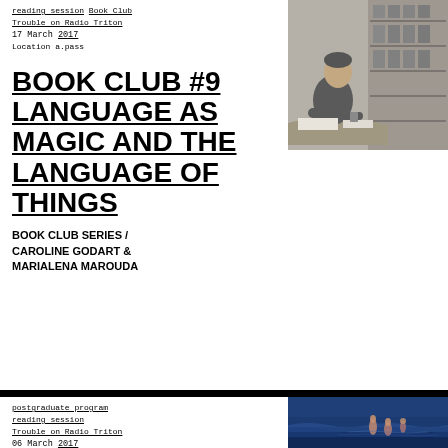reading session Book Club Trouble on Radio Triton
17 March 2017
Location a.pass
[Figure (photo): Black and white photo of a person sitting at a desk in what appears to be a library or archive, working with papers and cards]
BOOK CLUB #9 LANGUAGE AS MAGIC AND THE LANGUAGE OF THINGS
BOOK CLUB SERIES / CAROLINE GODART & MARIALENA MAROUDA
postgraduate program reading session Trouble on Radio Triton
06 March 2017
[Figure (photo): Color photo of people in ocean water at night or dusk with blue tones]